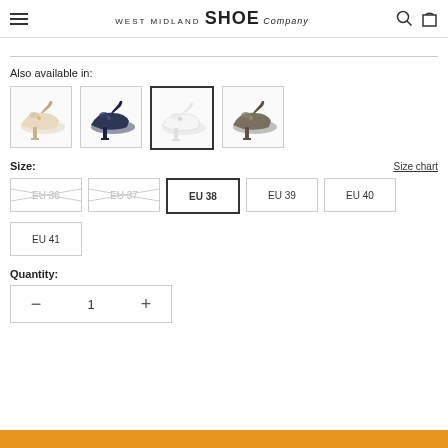West Midland Shoe Company
Also available in:
[Figure (photo): Four peep-toe high heel shoes in different colors: beige/cream, navy blue, white (selected), and dark grey/taupe]
Size:
Size chart
EU 36 (unavailable), EU 37 (unavailable), EU 38 (selected), EU 39, EU 40, EU 41
Quantity:
- 1 +